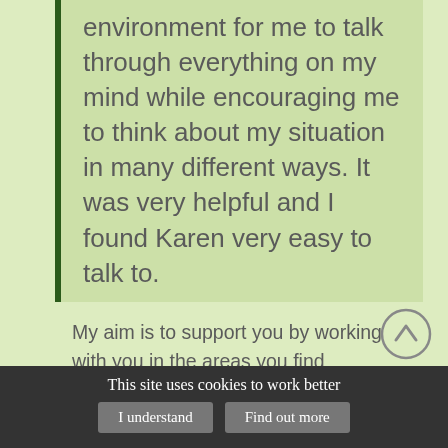environment for me to talk through everything on my mind while encouraging me to think about my situation in many different ways. It was very helpful and I found Karen very easy to talk to.
My aim is to support you by working with you in the areas you find challenging, and most importantly, by exploring ways to increase your choices.
I bring my life experience and professional training in
This site uses cookies to work better
I understand | Find out more